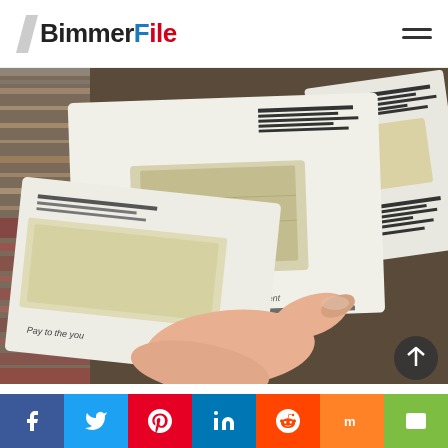BimmerFile
[Figure (photo): A hand holding several white envelopes/checks fanned out, with striped fabric visible in the background. The documents appear to contain financial check-like items.]
All Adults On Medicare Receive A Huge Benefit (Check If You Qualify)